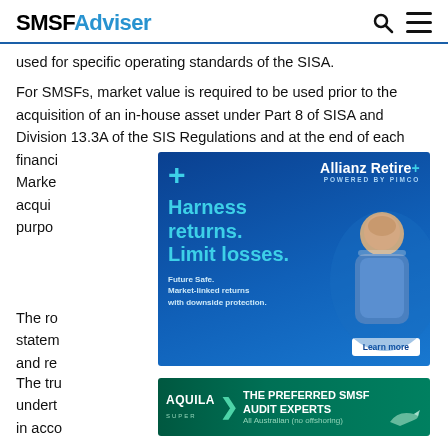SMSFAdviser
used for specific operating standards of the SISA.
For SMSFs, market value is required to be used prior to the acquisition of an in-house asset under Part 8 of SISA and Division 13.3A of the SIS Regulations and at the end of each financial year to value assets at market value. Market value is also required when acquiring in-house assets for member contribution purposes, per Regulation 13.18AA(2)(c)(ii) paragraph 67.
[Figure (infographic): Allianz Retire+ advertisement — Harness returns. Limit losses. Future Safe. Market-linked returns with downside protection. Learn more.]
The trustee must ensure it appoints a competent auditor to undertake the audit and must provide, and have documents in accordance with a legally binding obligation. For these purposes, the trustees should ensure their records and the completeness of the funds accounts and statements to ensure that accounts and statements are prepared as required by the legislation on a market value basis.
[Figure (infographic): Aquila Super advertisement — THE PREFERRED SMSF AUDIT EXPERTS. All Australian (no offshoring).]
The role of the approved SMSF auditor is to audit the statements of a SMSF to ensure that the fund meets the SISA and re... assist in